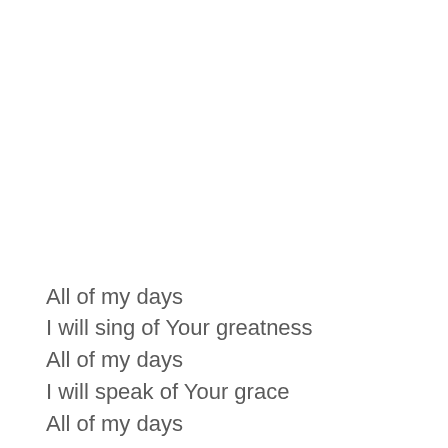All of my days
I will sing of Your greatness
All of my days
I will speak of Your grace
All of my days